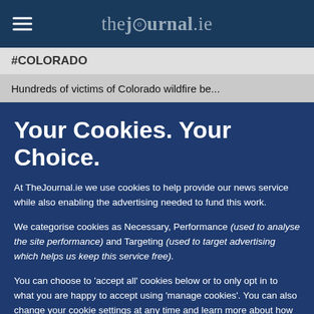thejournal.ie
#COLORADO
Hundreds of victims of Colorado wildfire be...
Your Cookies. Your Choice.
At TheJournal.ie we use cookies to help provide our news service while also enabling the advertising needed to fund this work.
We categorise cookies as Necessary, Performance (used to analyse the site performance) and Targeting (used to target advertising which helps us keep this service free).
You can choose to 'accept all' cookies below or to only opt in to what you are happy to accept using 'manage cookies'. You can also change your cookie settings at any time and learn more about how we use cookies in